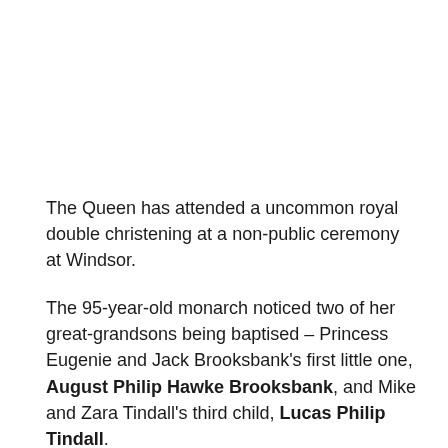The Queen has attended a uncommon royal double christening at a non-public ceremony at Windsor.
The 95-year-old monarch noticed two of her great-grandsons being baptised – Princess Eugenie and Jack Brooksbank's first little one, August Philip Hawke Brooksbank, and Mike and Zara Tindall's third child, Lucas Philip Tindall.
Eugenie, considered one of Prince Andrew's two daughters, was pictured arriving on the Royal Lodge in Windsor Nice